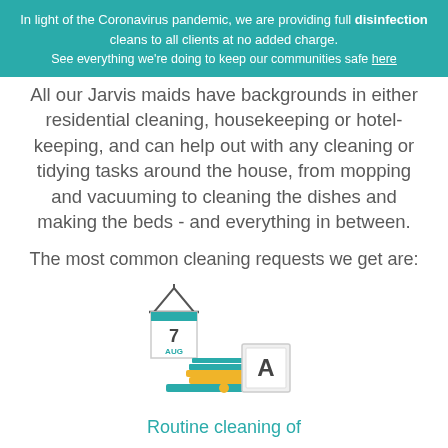In light of the Coronavirus pandemic, we are providing full disinfection cleans to all clients at no added charge. See everything we're doing to keep our communities safe here
All our Jarvis maids have backgrounds in either residential cleaning, housekeeping or hotel-keeping, and can help out with any cleaning or tidying tasks around the house, from mopping and vacuuming to cleaning the dishes and making the beds - and everything in between.
The most common cleaning requests we get are:
[Figure (illustration): Icon of a calendar showing '7 AUG' with a stack of teal and yellow books beside a framed letter 'A' on a teal platform, suggesting a back-to-school or routine cleaning theme.]
Routine cleaning of